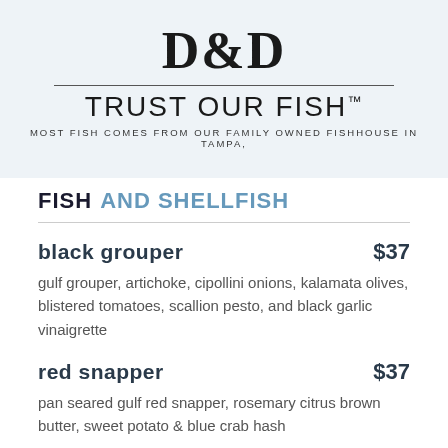[Figure (logo): Restaurant logo showing stylized 'D&D' lettering above a horizontal divider line, followed by 'TRUST OUR FISH' in large serif letters with trademark symbol, and a tagline in small spaced capitals on a light blue-grey background]
FISH AND SHELLFISH
black grouper $37 — gulf grouper, artichoke, cipollini onions, kalamata olives, blistered tomatoes, scallion pesto, and black garlic vinaigrette
red snapper $37 — pan seared gulf red snapper, rosemary citrus brown butter, sweet potato & blue crab hash